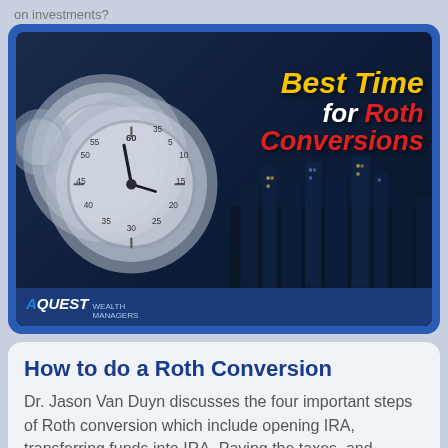on investments?
[Figure (illustration): Thumbnail image for a video titled 'Best Time for Roth Conversions' by AQuest Wealth Managers. Features stopwatch/clock imagery on a dark blue city skyline background, with bold styled text: 'Best Time' in yellow italic, 'for Roth' in white/red italic, and 'Conversions' in red italic. AQuest logo in lower left.]
How to do a Roth Conversion
Dr. Jason Van Duyn discusses the four important steps of Roth conversion which include opening IRA, transferring funds into IRA, Paying the taxes, and converting the account into Roth IRA.